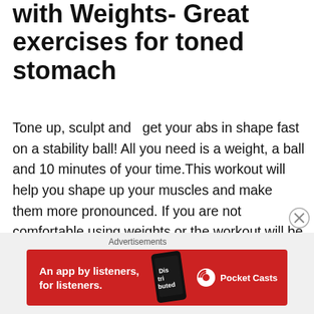with Weights- Great exercises for toned stomach
Tone up, sculpt and  get your abs in shape fast on a stability ball! All you need is a weight, a ball and 10 minutes of your time.This workout will help you shape up your muscles and make them more pronounced.  If you are not comfortable using weights or the workout will be too hard to perform with resistance, just drop the weights and continue without them- follow easier version described in the beginning of the video.  Remember to eat healthy and do your cardio workouts regularly for better results. Abs, just like other muscles, need time to recover so don't do
Advertisements
[Figure (other): Red advertisement banner for Pocket Casts app with text 'An app by listeners, for listeners.' and phone graphic showing 'Dis tri buted' text.]